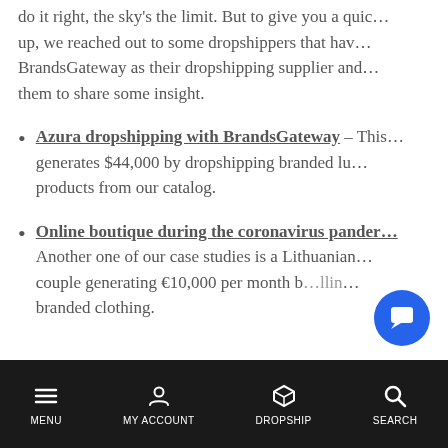do it right, the sky's the limit. But to give you a quick run-up, we reached out to some dropshippers that have used BrandsGateway as their dropshipping supplier and asked them to share some insight.
Azura dropshipping with BrandsGateway – This ... generates $44,000 by dropshipping branded lu... products from our catalog.
Online boutique during the coronavirus pande... Another one of our case studies is a Lithuanian couple generating €10,000 per month b...llin... branded clothing.
MENU  MY ACCOUNT  DROPSHIP  SEARCH